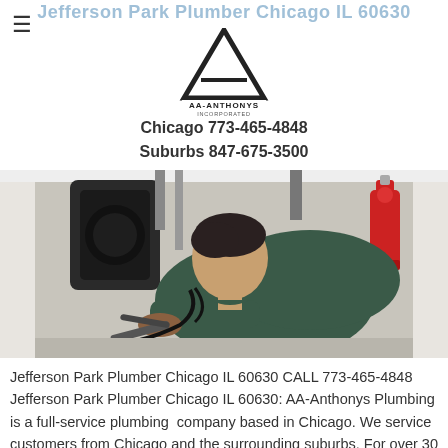Jefferson Park Plumber Chicago IL 60630
[Figure (logo): AA-Anthonys Incorporated logo — black triangle with 'A' shape above text 'AA-ANTHONYS INCORPORATED']
Chicago 773-465-4848
Suburbs 847-675-3500
[Figure (photo): A plumber working under a kitchen sink, inspecting or repairing plumbing next to a garbage disposal unit. A red fire extinguisher is visible in the background.]
Jefferson Park Plumber Chicago IL 60630 CALL 773-465-4848 Jefferson Park Plumber Chicago IL 60630: AA-Anthonys Plumbing is a full-service plumbing company based in Chicago. We service customers from Chicago and the surrounding suburbs. For over 30 years. Our business has